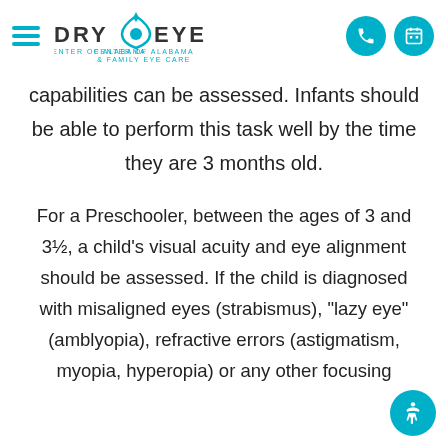Dry Eye Center of Alabama & Family Eye Care — navigation header with phone and calendar icons
capabilities can be assessed. Infants should be able to perform this task well by the time they are 3 months old.
For a Preschooler, between the ages of 3 and 3½, a child's visual acuity and eye alignment should be assessed. If the child is diagnosed with misaligned eyes (strabismus), "lazy eye" (amblyopia), refractive errors (astigmatism, myopia, hyperopia) or any other focusing